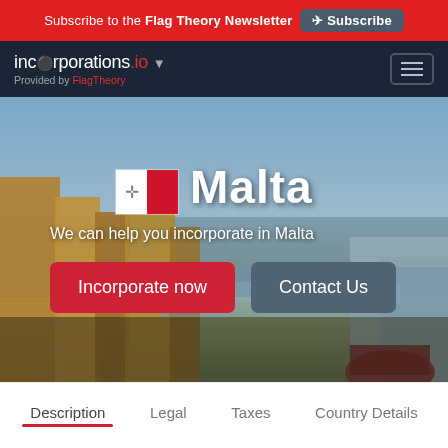Subscribe to the Flag Theory Newsletter  Subscribe
[Figure (screenshot): incorporations.io website header with navigation bar showing logo 'incorporations.io' and 'Provided by FlagTheory' with hamburger menu]
[Figure (photo): Aerial photo of Malta's cityscape with harbor and sea in background, overlaid with Malta flag, country title 'Malta', subtitle 'We can help you incorporate in Malta', and two CTA buttons 'Incorporate now' and 'Contact Us']
We can help you incorporate in Malta
Incorporate now
Contact Us
Description  Legal  Taxes  Country Details